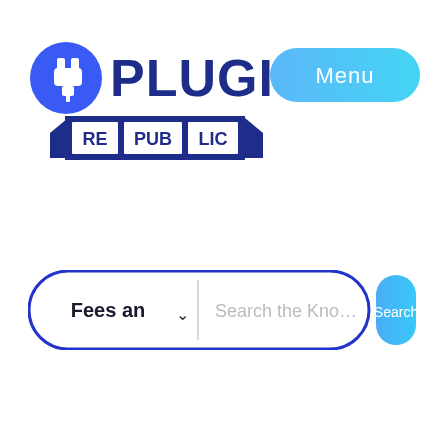[Figure (logo): Plugin Republic logo: blue circle with white plug icon on the left, bold dark blue text PLUGIN on the top right, and a banner-style ribbon below with RE PUB LIC text in dark blue on white banners]
[Figure (screenshot): Menu button: a rounded pill-shaped button with a gradient from light blue to cyan, containing the word Menu in white text]
[Figure (screenshot): Search bar UI: a large rounded rectangle with dark blue border containing a dropdown showing Fees an with a chevron, a text input placeholder Search the Knov, and a blue rounded Search button on the right]